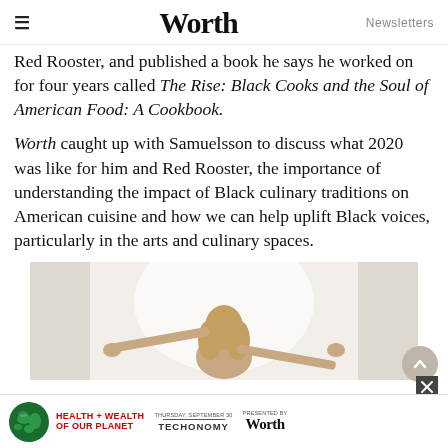≡  Worth  Newsletters
Red Rooster, and published a book he says he worked on for four years called The Rise: Black Cooks and the Soul of American Food: A Cookbook.
Worth caught up with Samuelsson to discuss what 2020 was like for him and Red Rooster, the importance of understanding the impact of Black culinary traditions on American cuisine and how we can help uplift Black voices, particularly in the arts and culinary spaces.
[Figure (photo): Woman with blonde hair seen from behind, arms outstretched holding curtains open, with bright light behind her.]
[Figure (infographic): Advertisement banner: Health + Wealth of Our Planet event, Thursday September 30, presented by Techonomy and Worth magazine.]